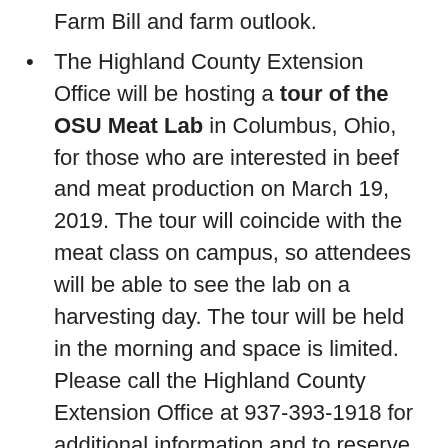Farm Bill and farm outlook.
The Highland County Extension Office will be hosting a tour of the OSU Meat Lab in Columbus, Ohio, for those who are interested in beef and meat production on March 19, 2019. The tour will coincide with the meat class on campus, so attendees will be able to see the lab on a harvesting day. The tour will be held in the morning and space is limited. Please call the Highland County Extension Office at 937-393-1918 for additional information and to reserve your place for the tour.
Southwestern Ohio Beekeeper